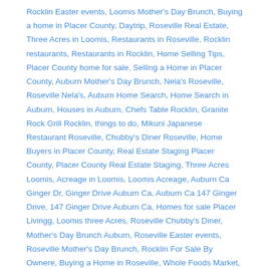Rocklin Easter events, Loomis Mother's Day Brunch, Buying a home in Placer County, Daytrip, Roseville Real Estate, Three Acres in Loomis, Restaurants in Roseville, Rocklin restaurants, Restaurants in Rocklin, Home Selling Tips, Placer County home for sale, Selling a Home in Placer County, Auburn Mother's Day Brunch, Nela's Roseville, Roseville Nela's, Auburn Home Search, Home Search in Auburn, Houses in Auburn, Chefs Table Rocklin, Granite Rock Grill Rocklin, things to do, Mikuni Japanese Restaurant Roseville, Chubby's Diner Roseville, Home Buyers in Placer County, Real Estate Staging Placer County, Placer County Real Estate Staging, Three Acres Loomis, Acreage in Loomis, Loomis Acreage, Auburn Ca Ginger Dr, Ginger Drive Auburn Ca, Auburn Ca 147 Ginger Drive, 147 Ginger Drive Auburn Ca, Homes for sale Placer Livingg, Loomis three Acres, Roseville Chubby's Diner, Mother's Day Brunch Auburn, Roseville Easter events, Roseville Mother's Day Brunch, Rocklin For Sale By Ownere, Buying a Home in Roseville, Whole Foods Market, the Fountains at Roseville, Selling your own Property, Selling your own Property in Placer County, for sale by owner Placer County, Placer County FSBO, Placer County For Sale By Owner, real estate agent in Placer County, Placer County Real Estate, Rocklin Real Estate, Credit score, Art Affaire on the Square, credit report, Real Estate in Auburn, Auburn Real Estate, Placer Living Real Estate,